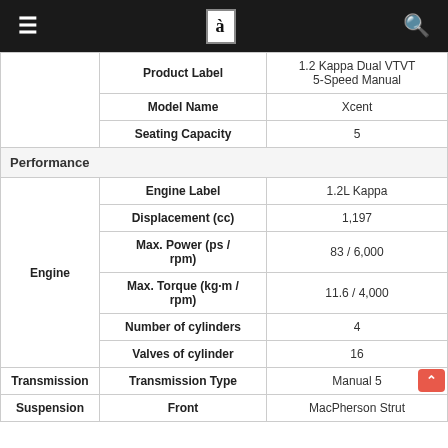≡  [logo]  🔍
| Category | Attribute | Value |
| --- | --- | --- |
|  | Product Label | 1.2 Kappa Dual VTVT 5-Speed Manual |
|  | Model Name | Xcent |
|  | Seating Capacity | 5 |
| Performance |  |  |
| Engine | Engine Label | 1.2L Kappa |
| Engine | Displacement (cc) | 1,197 |
| Engine | Max. Power (ps / rpm) | 83 / 6,000 |
| Engine | Max. Torque (kg·m / rpm) | 11.6 / 4,000 |
| Engine | Number of cylinders | 4 |
| Engine | Valves of cylinder | 16 |
| Transmission | Transmission Type | Manual 5 |
| Suspension | Front | MacPherson Strut |